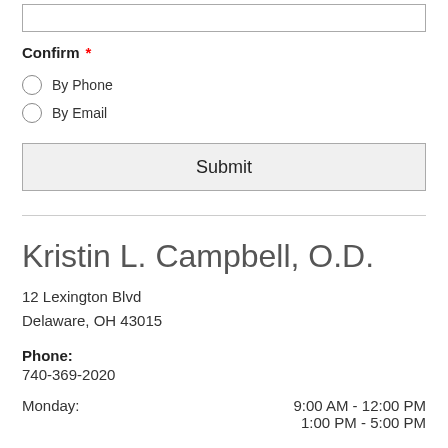[input box]
Confirm *
By Phone
By Email
Submit
Kristin L. Campbell, O.D.
12 Lexington Blvd
Delaware, OH 43015
Phone: 740-369-2020
Monday: 9:00 AM - 12:00 PM
1:00 PM - 5:00 PM